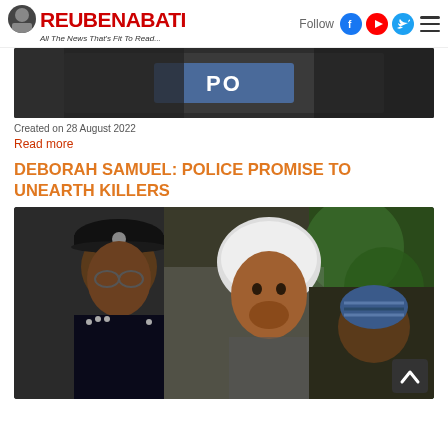ReubenAbati — All The News That's Fit To Read...
[Figure (photo): Cropped top portion of a news article image showing a person in a police vest]
Created on 28 August 2022
Read more
DEBORAH SAMUEL: POLICE PROMISE TO UNEARTH KILLERS
[Figure (photo): Composite image showing three people: a police officer in uniform on the left, a young woman with a white head covering in the center, and a man on the right]